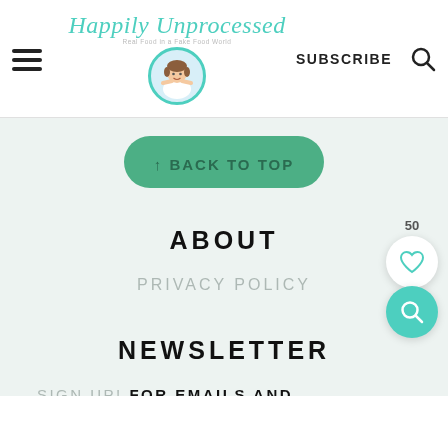Happily Unprocessed — SUBSCRIBE
[Figure (illustration): Green rounded button with upward arrow and text BACK TO TOP]
ABOUT
PRIVACY POLICY
NEWSLETTER
SIGN UP! FOR EMAILS AND UPDATES